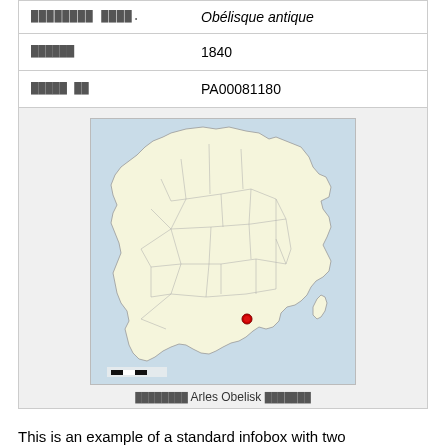| [corrupted text] | Obélisque antique |
| [corrupted] | 1840 |
| [corrupted] | PA00081180 |
| [map image] |  |
[corrupted] Arles Obelisk [corrupted]
This is an example of a standard infobox with two designations. Notice in the World Heritage Site